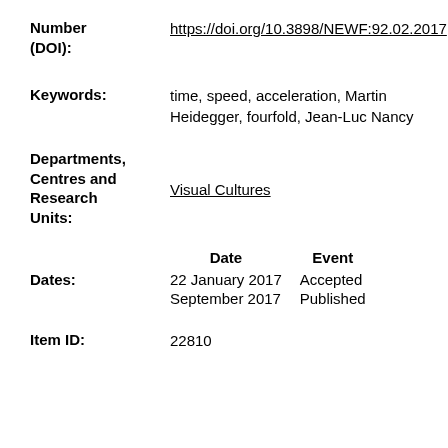Number (DOI): https://doi.org/10.3898/NEWF:92.02.2017
Keywords: time, speed, acceleration, Martin Heidegger, fourfold, Jean-Luc Nancy
Departments, Centres and Research Units: Visual Cultures
|  | Date | Event |
| --- | --- | --- |
| Dates: | 22 January 2017 | Accepted |
|  | September 2017 | Published |
Item ID: 22810